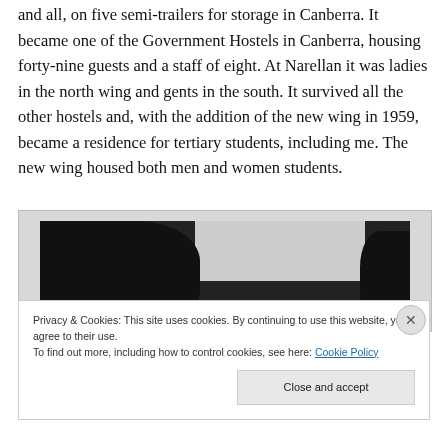and all, on five semi-trailers for storage in Canberra. It became one of the Government Hostels in Canberra, housing forty-nine guests and a staff of eight. At Narellan it was ladies in the north wing and gents in the south. It survived all the other hostels and, with the addition of the new wing in 1959, became a residence for tertiary students, including me. The new wing housed both men and women students.
[Figure (photo): Black and white photograph showing tree silhouettes against a light sky, with dense foliage on the left side and a smaller tree or bush on the right.]
Privacy & Cookies: This site uses cookies. By continuing to use this website, you agree to their use.
To find out more, including how to control cookies, see here: Cookie Policy